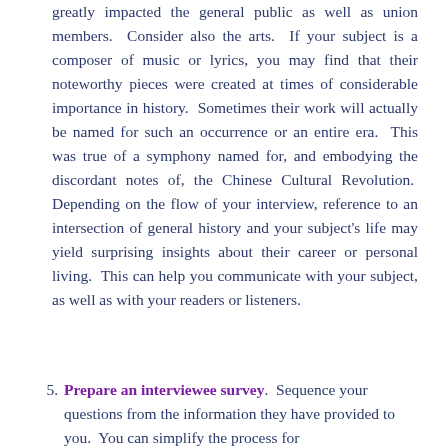greatly impacted the general public as well as union members.  Consider also the arts.  If your subject is a composer of music or lyrics, you may find that their noteworthy pieces were created at times of considerable importance in history.  Sometimes their work will actually be named for such an occurrence or an entire era.  This was true of a symphony named for, and embodying the discordant notes of, the Chinese Cultural Revolution.  Depending on the flow of your interview, reference to an intersection of general history and your subject's life may yield surprising insights about their career or personal living.  This can help you communicate with your subject, as well as with your readers or listeners.
5. Prepare an interviewee survey.  Sequence your questions from the information they have provided to you.  You can simplify the process for